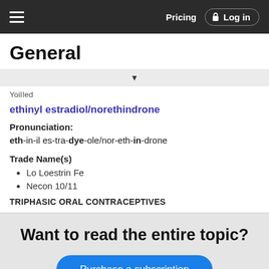General | Pricing | Log in
General
ethinyl estradiol/norethindrone
Pronunciation: eth-in-il es-tra-dye-ole/nor-eth-in-drone
Trade Name(s)
Lo Loestrin Fe
Necon 10/11
TRIPHASIC ORAL CONTRACEPTIVES
Want to read the entire topic?
Purchase a subscription
I'm already a subscriber
Browse sample topics